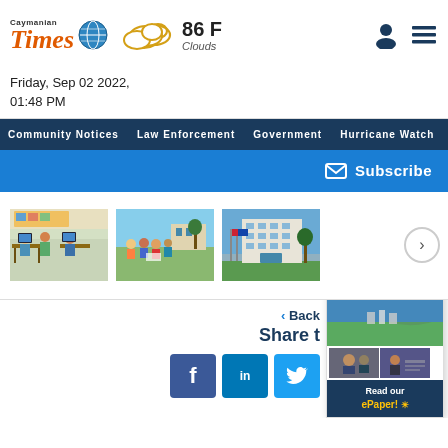Caymanian Times — 86 F Clouds — Friday, Sep 02 2022, 01:48 PM
Community Notices   Law Enforcement   Government   Hurricane Watch   CO
Subscribe
[Figure (photo): Three thumbnail photos in a slideshow: students at computers in a classroom, a group of children outdoors, a government building with flags]
Back
Share t
[Figure (screenshot): ePaper popup showing Caymanian Times logo, aerial photo, two smaller news photos, and Read our ePaper! button]